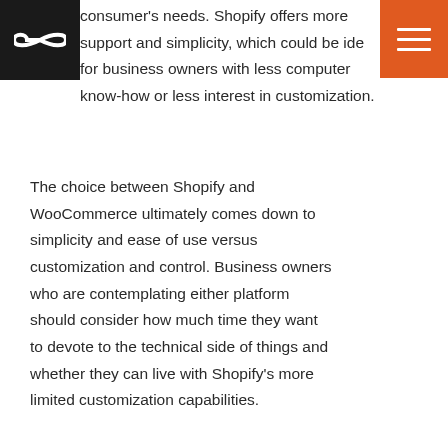[Figure (logo): Black square logo with infinity/loop symbol in white]
[Figure (other): Orange square hamburger menu icon with three white horizontal lines]
consumer's needs. Shopify offers more support and simplicity, which could be ideal for business owners with less computer know-how or less interest in customization.
The choice between Shopify and WooCommerce ultimately comes down to simplicity and ease of use versus customization and control. Business owners who are contemplating either platform should consider how much time they want to devote to the technical side of things and whether they can live with Shopify's more limited customization capabilities.